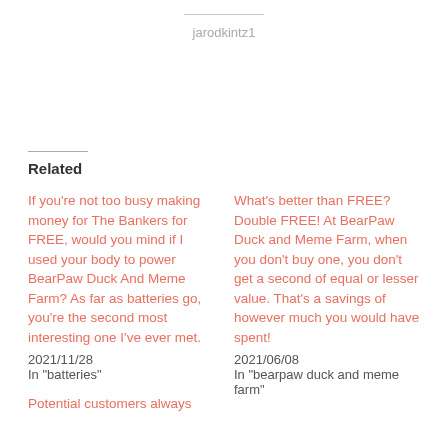jarodkintz1
Related
If you're not too busy making money for The Bankers for FREE, would you mind if I used your body to power BearPaw Duck And Meme Farm? As far as batteries go, you're the second most interesting one I've ever met.
2021/11/28
In "batteries"
What's better than FREE? Double FREE! At BearPaw Duck and Meme Farm, when you don't buy one, you don't get a second of equal or lesser value. That's a savings of however much you would have spent!
2021/06/08
In "bearpaw duck and meme farm"
Potential customers always